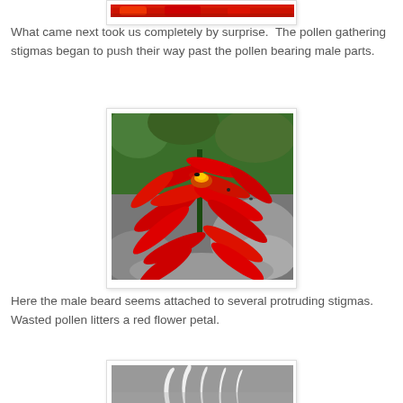[Figure (photo): Top portion of a red flower photo, cropped at top of page]
What came next took us completely by surprise.  The pollen gathering stigmas began to push their way past the pollen bearing male parts.
[Figure (photo): Close-up photo of bright red Lobelia cardinalis (Cardinal flower) blooms with yellow center and insects visible, against a green and grey rocky background]
Here the male beard seems attached to several protruding stigmas.  Wasted pollen litters a red flower petal.
[Figure (photo): Bottom portion of another flower photo, partially visible at bottom of page, showing white curved structures against grey background]